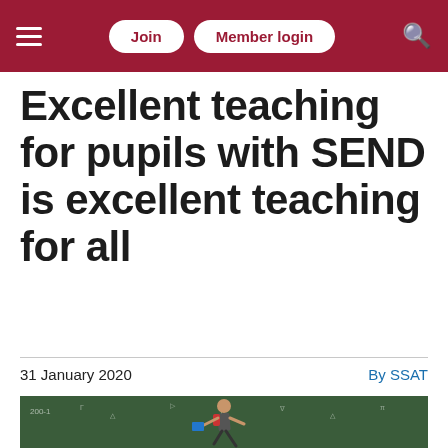Join | Member login
Excellent teaching for pupils with SEND is excellent teaching for all
31 January 2020
By SSAT
[Figure (photo): A student jumping energetically in front of a blackboard covered with maths equations and diagrams]